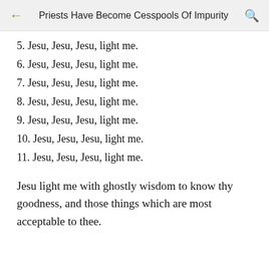Priests Have Become Cesspools Of Impurity
5. Jesu, Jesu, Jesu, light me.
6. Jesu, Jesu, Jesu, light me.
7. Jesu, Jesu, Jesu, light me.
8. Jesu, Jesu, Jesu, light me.
9. Jesu, Jesu, Jesu, light me.
10. Jesu, Jesu, Jesu, light me.
11. Jesu, Jesu, Jesu, light me.
Jesu light me with ghostly wisdom to know thy goodness, and those things which are most acceptable to thee.